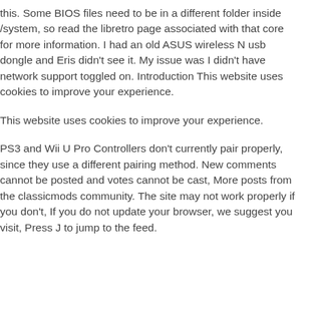this. Some BIOS files need to be in a different folder inside /system, so read the libretro page associated with that core for more information. I had an old ASUS wireless N usb dongle and Eris didn't see it. My issue was I didn't have network support toggled on. Introduction This website uses cookies to improve your experience.
This website uses cookies to improve your experience.
PS3 and Wii U Pro Controllers don't currently pair properly, since they use a different pairing method. New comments cannot be posted and votes cannot be cast, More posts from the classicmods community. The site may not work properly if you don't, If you do not update your browser, we suggest you visit, Press J to jump to the feed.